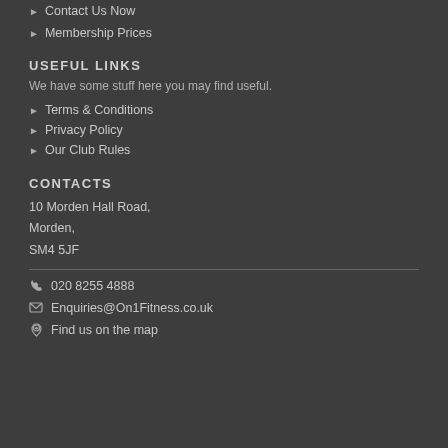Contact Us Now
Membership Prices
USEFUL LINKS
We have some stuff here you may find useful.
Terms & Conditions
Privacy Policy
Our Club Rules
CONTACTS
10 Morden Hall Road,
Morden,
SM4 5JF
020 8255 4888
Enquiries@On1Fitness.co.uk
Find us on the map